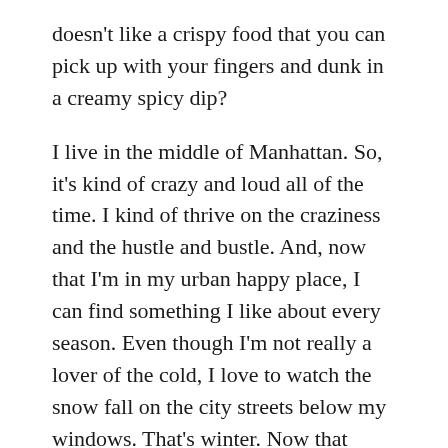doesn't like a crispy food that you can pick up with your fingers and dunk in a creamy spicy dip?
I live in the middle of Manhattan. So, it's kind of crazy and loud all of the time. I kind of thrive on the craziness and the hustle and bustle. And, now that I'm in my urban happy place, I can find something I like about every season. Even though I'm not really a lover of the cold, I love to watch the snow fall on the city streets below my windows. That's winter. Now that winter is over and it's full-on spring here in New York, it means we get to sit at my dining room table near the window, look outside, and actually watch the sun set at dinner time… yay!